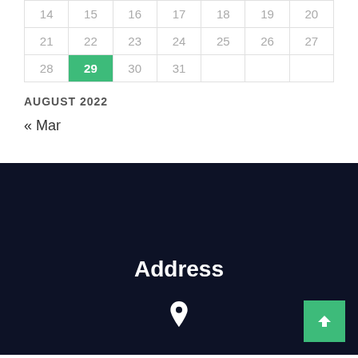| 14 | 15 | 16 | 17 | 18 | 19 | 20 |
| 21 | 22 | 23 | 24 | 25 | 26 | 27 |
| 28 | 29 | 30 | 31 |  |  |  |
AUGUST 2022
« Mar
Address
[Figure (illustration): Location pin icon (map marker) in white on dark navy background]